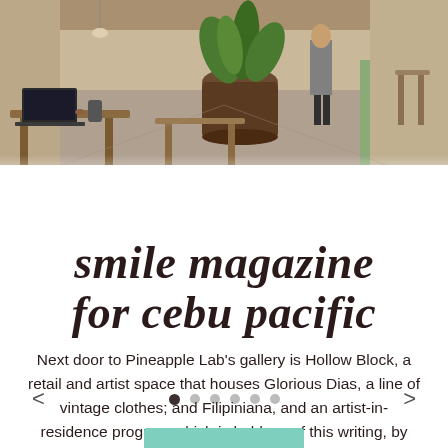[Figure (photo): Interior of a cafe/workspace with laptops on tables, potted plants, wooden furniture, and a person standing in the background on a concrete floor.]
smile magazine for cebu pacific
Next door to Pineapple Lab's gallery is Hollow Block, a retail and artist space that houses Glorious Dias, a line of vintage clothes; and Filipiniana, and an artist-in-residence program which is held, as of this writing, by Leslie Espinosa, a Fil-Am hairstylist from New York who has experience in theater and cosmetology.